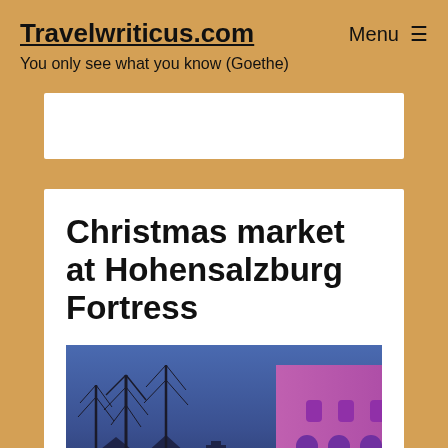Travelwriticus.com
You only see what you know (Goethe)
Christmas market at Hohensalzburg Fortress
[Figure (photo): Evening photo of Christmas market at Hohensalzburg Fortress showing bare trees against a blue dusk sky and a pink/purple illuminated building with a glowing yellow star decoration]